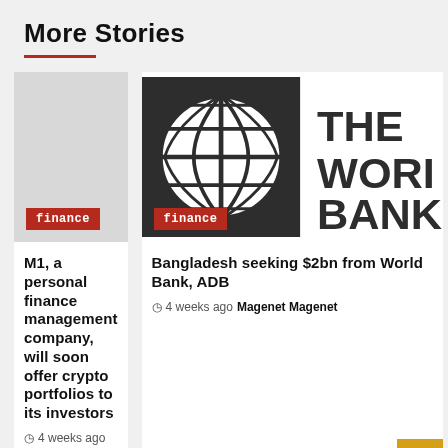More Stories
[Figure (photo): Gray placeholder image for article about M1 personal finance company with 'finance' badge overlay]
[Figure (logo): The World Bank logo (globe icon with 'THE WORLD BANK' text) with 'finance' badge overlay]
M1, a personal finance management company, will soon offer crypto portfolios to its investors
4 weeks ago  Magenet Magenet
Bangladesh seeking $2bn from World Bank, ADB
4 weeks ago  Magenet Magenet